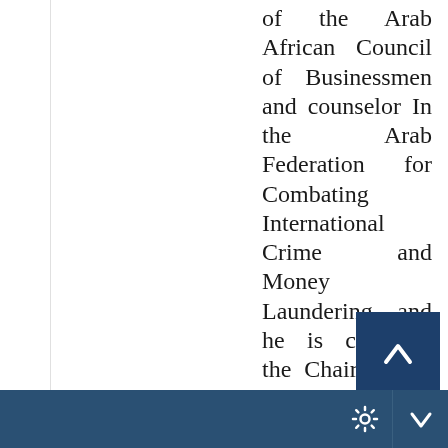of the Arab African Council of Businessmen and counselor In the Arab Federation for Combating International Crime and Money Laundering, and he is currently the Chairman of Jordanian Association Investors in Securities
[Figure (other): Dark blue square button with upward-pointing chevron arrow (scroll to top button)]
Footer navigation bar with gear/settings icon and download/scroll-down icon